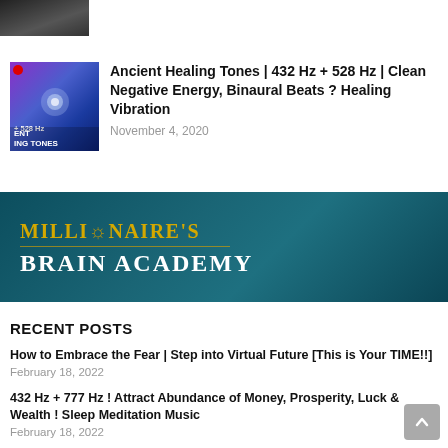[Figure (photo): Partial thumbnail image at top, dark interior scene]
[Figure (photo): Thumbnail of a glowing human figure with energy/healing imagery, purple and blue tones, text overlay: ENT ING TONES, red circle indicator]
Ancient Healing Tones | 432 Hz + 528 Hz | Clean Negative Energy, Binaural Beats ? Healing Vibration
November 4, 2020
[Figure (logo): Millionaire's Brain Academy banner - dark teal background with gold and white text]
RECENT POSTS
How to Embrace the Fear | Step into Virtual Future [This is Your TIME!!]
February 18, 2022
432 Hz + 777 Hz ! Attract Abundance of Money, Prosperity, Luck & Wealth ! Sleep Meditation Music
February 18, 2022